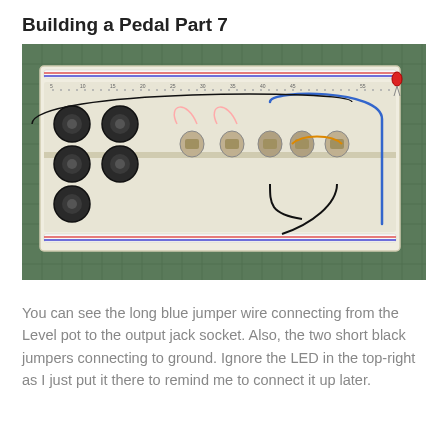Building a Pedal Part 7
[Figure (photo): A breadboard with electronic components including potentiometers/jack sockets on the left, capacitors in the middle, a long blue jumper wire, two short black jumper wires, an orange wire, and a red LED in the top-right corner. The breadboard sits on a green cutting mat.]
You can see the long blue jumper wire connecting from the Level pot to the output jack socket. Also, the two short black jumpers connecting to ground. Ignore the LED in the top-right as I just put it there to remind me to connect it up later.